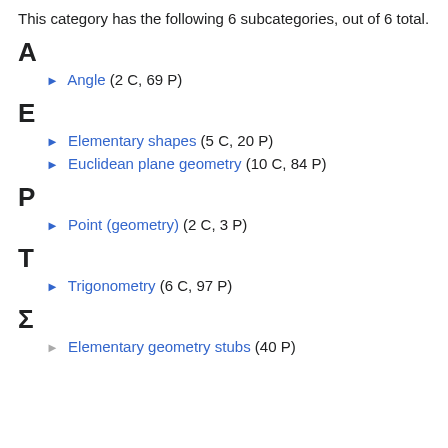This category has the following 6 subcategories, out of 6 total.
A
► Angle (2 C, 69 P)
E
► Elementary shapes (5 C, 20 P)
► Euclidean plane geometry (10 C, 84 P)
P
► Point (geometry) (2 C, 3 P)
T
► Trigonometry (6 C, 97 P)
Σ
► Elementary geometry stubs (40 P)